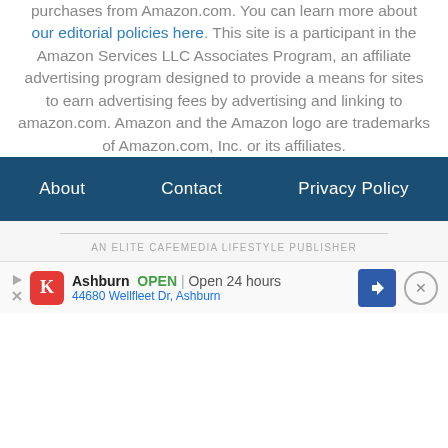purchases from Amazon.com. You can learn more about our editorial policies here. This site is a participant in the Amazon Services LLC Associates Program, an affiliate advertising program designed to provide a means for sites to earn advertising fees by advertising and linking to amazon.com. Amazon and the Amazon logo are trademarks of Amazon.com, Inc. or its affiliates.
About  Contact  Privacy Policy
AN ELITE CAFEMEDIA LIFESTYLE PUBLISHER
[Figure (other): Advertisement bar: Ashburn OPEN | Open 24 hours, 44680 Wellfleet Dr, Ashburn, with navigation arrow and close button]